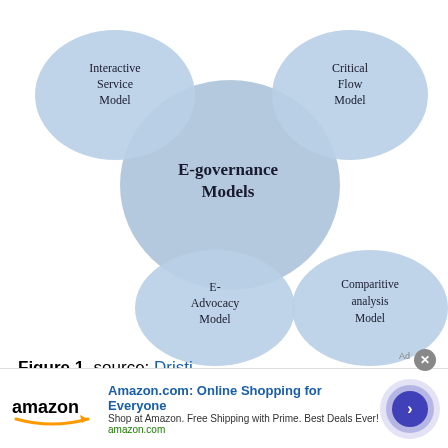[Figure (infographic): E-governance Models diagram showing a central large circle labeled 'E-governance Models' surrounded by four smaller oval shapes: 'Interactive Service Model' (top-left), 'Critical Flow Model' (top-right), 'E-Advocacy Model' (bottom-left), and 'Comparitive analysis Model' (bottom-right). All shapes are in shades of blue.]
Figure 1. source: Dristi